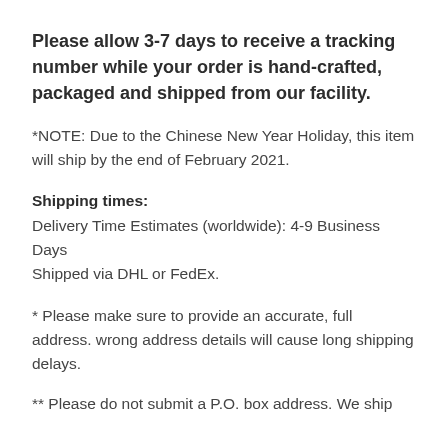Please allow 3-7 days to receive a tracking number while your order is hand-crafted, packaged and shipped from our facility.
*NOTE: Due to the Chinese New Year Holiday, this item will ship by the end of February 2021.
Shipping times:
Delivery Time Estimates (worldwide): 4-9 Business Days
Shipped via DHL or FedEx.
* Please make sure to provide an accurate, full address. wrong address details will cause long shipping delays.
** Please do not submit a P.O. box address. We ship